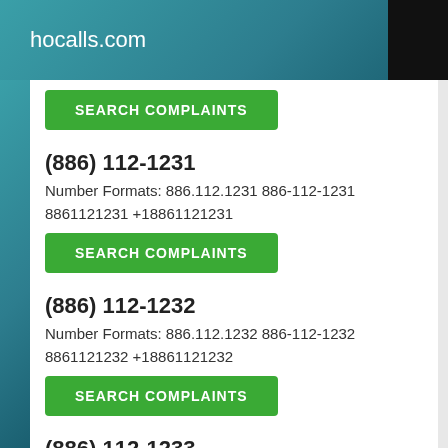hocalls.com
SEARCH COMPLAINTS
(886) 112-1231
Number Formats: 886.112.1231 886-112-1231 8861121231 +18861121231
SEARCH COMPLAINTS
(886) 112-1232
Number Formats: 886.112.1232 886-112-1232 8861121232 +18861121232
SEARCH COMPLAINTS
(886) 112-1233
Number Formats: 886.112.1233 886-112-1233 8861121233 +18861121233